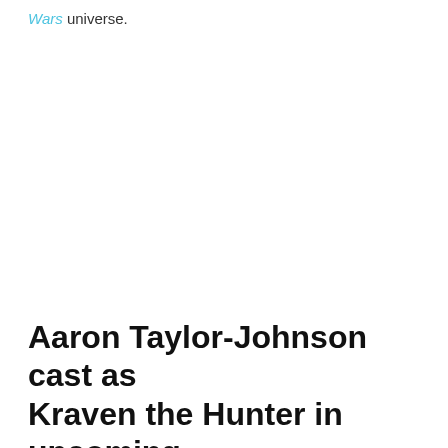Wars universe.
Aaron Taylor-Johnson cast as Kraven the Hunter in upcoming Sony movie